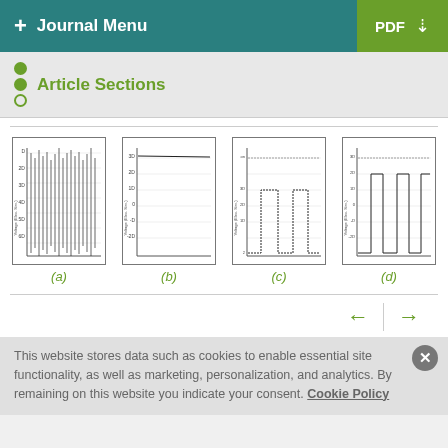+ Journal Menu | PDF ↓
Article Sections
[Figure (continuous-plot): Small thumbnail of a scientific chart (a) showing dense vertical lines/oscillations on a grid with axis labels]
[Figure (continuous-plot): Small thumbnail of a scientific chart (b) showing a nearly flat horizontal line on a grid with axis labels]
[Figure (continuous-plot): Small thumbnail of a scientific chart (c) showing stepped/dotted lines on a grid with axis labels]
[Figure (continuous-plot): Small thumbnail of a scientific chart (d) showing stepped lines on a grid with axis labels]
(a)    (b)    (c)    (d)
This website stores data such as cookies to enable essential site functionality, as well as marketing, personalization, and analytics. By remaining on this website you indicate your consent. Cookie Policy